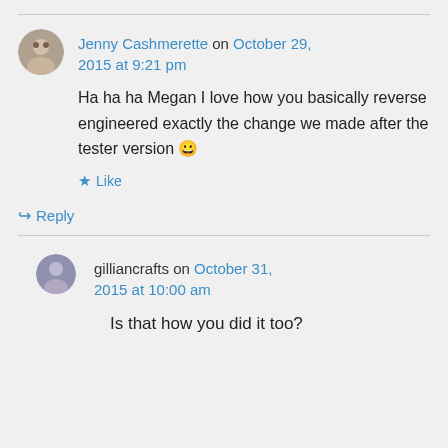Jenny Cashmerette on October 29, 2015 at 9:21 pm
Ha ha ha Megan I love how you basically reverse engineered exactly the change we made after the tester version 😀
Like
Reply
gilliancrafts on October 31, 2015 at 10:00 am
Is that how you did it too?